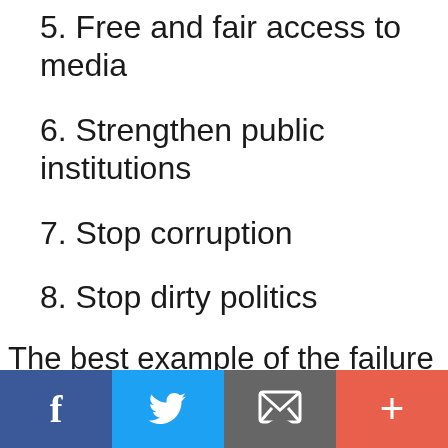5. Free and fair access to media
6. Strengthen public institutions
7. Stop corruption
8. Stop dirty politics
The best example of the failure of the demand for a clean, free and fair elec electoral roll”, which states: Read the